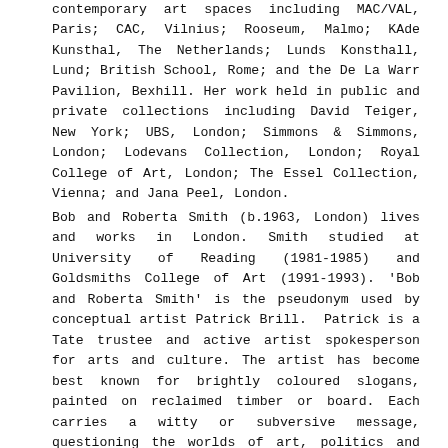contemporary art spaces including MAC/VAL, Paris; CAC, Vilnius; Rooseum, Malmo; KAde Kunsthal, The Netherlands; Lunds Konsthall, Lund; British School, Rome; and the De La Warr Pavilion, Bexhill. Her work held in public and private collections including David Teiger, New York; UBS, London; Simmons & Simmons, London; Lodevans Collection, London; Royal College of Art, London; The Essel Collection, Vienna; and Jana Peel, London.
Bob and Roberta Smith (b.1963, London) lives and works in London. Smith studied at University of Reading (1981-1985) and Goldsmiths College of Art (1991-1993). 'Bob and Roberta Smith' is the pseudonym used by conceptual artist Patrick Brill.  Patrick is a Tate trustee and active artist spokesperson for arts and culture. The artist has become best known for brightly coloured slogans, painted on reclaimed timber or board. Each carries a witty or subversive message, questioning the worlds of art, politics and popular culture. As well as sign painting, he also makes sculptures in cement, performs music with 'The Ken Ardley Playboys', and hosts the radio show 'Make Your Own Damn Music' on Resonance fm. Selected group shows include Tate Britain, London, Hayward Gallery, London, Serpentine Gallery, London, Tate Liverpool, CCAC, San Francisco, National Gallery in Copenhagen, Denmark and